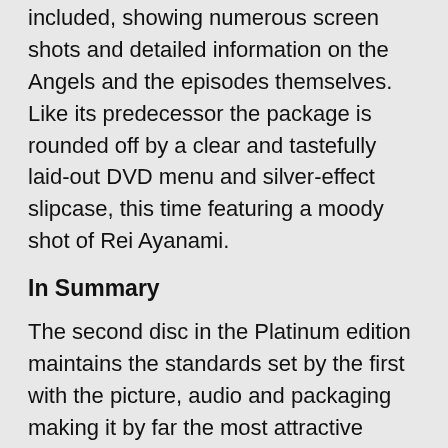included, showing numerous screen shots and detailed information on the Angels and the episodes themselves. Like its predecessor the package is rounded off by a clear and tastefully laid-out DVD menu and silver-effect slipcase, this time featuring a moody shot of Rei Ayanami.
In Summary
The second disc in the Platinum edition maintains the standards set by the first with the picture, audio and packaging making it by far the most attractive version for new and die-hard fans alike. The review hasleton is